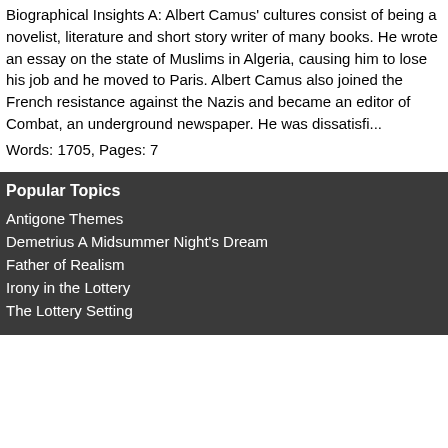Biographical Insights A: Albert Camus' cultures consist of being a novelist, literature and short story writer of many books. He wrote an essay on the state of Muslims in Algeria, causing him to lose his job and he moved to Paris. Albert Camus also joined the French resistance against the Nazis and became an editor of Combat, an underground newspaper. He was dissatisfi... Words: 1705, Pages: 7
Popular Topics
Antigone Themes
Demetrius A Midsummer Night's Dream
Father of Realism
Irony in the Lottery
The Lottery Setting